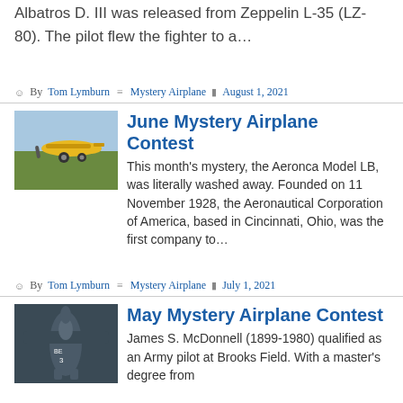Albatros D. III was released from Zeppelin L-35 (LZ-80). The pilot flew the fighter to a…
By Tom Lymburn  Mystery Airplane  August 1, 2021
June Mystery Airplane Contest
[Figure (photo): Yellow propeller airplane on grass field]
This month's mystery, the Aeronca Model LB, was literally washed away. Founded on 11 November 1928, the Aeronautical Corporation of America, based in Cincinnati, Ohio, was the first company to…
By Tom Lymburn  Mystery Airplane  July 1, 2021
May Mystery Airplane Contest
[Figure (photo): Dark blue military aircraft viewed from above/front angle]
James S. McDonnell (1899-1980) qualified as an Army pilot at Brooks Field. With a master's degree from